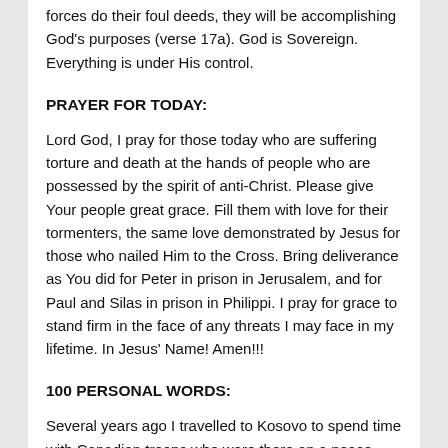forces do their foul deeds, they will be accomplishing God's purposes (verse 17a). God is Sovereign. Everything is under His control.
PRAYER FOR TODAY:
Lord God, I pray for those today who are suffering torture and death at the hands of people who are possessed by the spirit of anti-Christ. Please give Your people great grace. Fill them with love for their tormenters, the same love demonstrated by Jesus for those who nailed Him to the Cross. Bring deliverance as You did for Peter in prison in Jerusalem, and for Paul and Silas in prison in Philippi. I pray for grace to stand firm in the face of any threats I may face in my lifetime. In Jesus' Name! Amen!!!
100 PERSONAL WORDS:
Several years ago I travelled to Kosovo to spend time with Canadian troops who were there on a peace-keeping mission. I was so very proud of our men and women. After their regular shift of doing such tasks as clearing